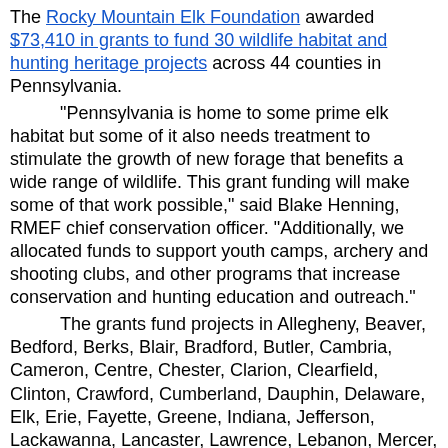The Rocky Mountain Elk Foundation awarded $73,410 in grants to fund 30 wildlife habitat and hunting heritage projects across 44 counties in Pennsylvania. "Pennsylvania is home to some prime elk habitat but some of it also needs treatment to stimulate the growth of new forage that benefits a wide range of wildlife. This grant funding will make some of that work possible," said Blake Henning, RMEF chief conservation officer. "Additionally, we allocated funds to support youth camps, archery and shooting clubs, and other programs that increase conservation and hunting education and outreach." The grants fund projects in Allegheny, Beaver, Bedford, Berks, Blair, Bradford, Butler, Cambria, Cameron, Centre, Chester, Clarion, Clearfield, Clinton, Crawford, Cumberland, Dauphin, Delaware, Elk, Erie, Fayette, Greene, Indiana, Jefferson, Lackawanna, Lancaster, Lawrence, Lebanon, Mercer, Montour, Montgomery, Northumberland, Perry, Philadelphia, Potter, Schuylkill, Sullivan, Susquehanna, Venango, Warren, Washington, Wayne, Westmoreland and Wyoming Counties. There are also three projects of statewide benefit. "We value and appreciate our volunteers who spend a lot of time and effort to host successful banquets, membership drives and other events that generate this